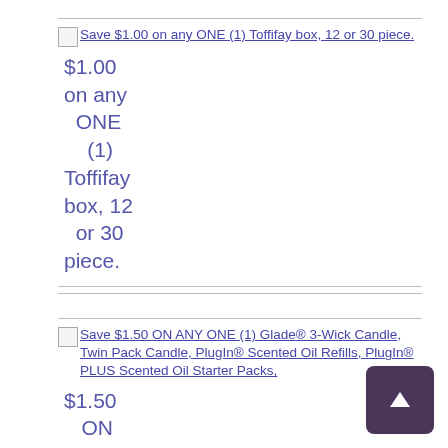Save $1.00 on any ONE (1) Toffifay box, 12 or 30 piece. $1.00 on any ONE (1) Toffifay box, 12 or 30 piece.
Save $1.50 ON ANY ONE (1) Glade® 3-Wick Candle, Twin Pack Candle, PlugIn® Scented Oil Refills, PlugIn® PLUS Scented Oil Starter Packs. $1.50 ON ANY ONE (1) Glade® 3-Wick